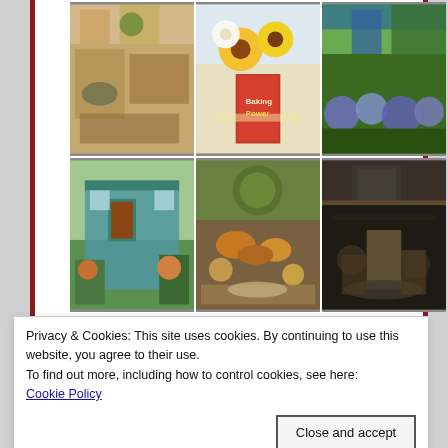[Figure (photo): A 2x3 photo collage of garden and potting shed images. Top row: cozy indoor garden room with vintage decor, sunflowers and daisies in a vintage tin can, lush garden with blue hydrangeas. Bottom row: exterior of a colorful potting shed with green trim, an elaborate fall tablescape with gourds and botanical plates, a dark dramatic harvest table setting with chalkboard sign.]
Around the Potting Shed
YEAR IN REVIEW
Privacy & Cookies: This site uses cookies. By continuing to use this website, you agree to their use.
To find out more, including how to control cookies, see here:
Cookie Policy